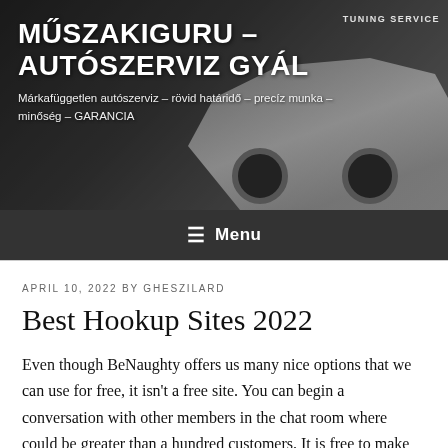[Figure (photo): Website header banner with car/auto service background image showing a silver car, with site title 'MŰSZAKIGURU – AUTÓSZERVIZ GYÁL' and tagline in white text overlay, and 'TUNING SERVICE' label in top right]
Menu
APRIL 10, 2022 BY GHESZILARD
Best Hookup Sites 2022
Even though BeNaughty offers us many nice options that we can use for free, it isn't a free site. You can begin a conversation with other members in the chat room where could be greater than a hundred customers. It is free to make use of Reddit Dirty R4R. Therefore, you wouldn't have to be apprehensive about utilizing cash so as to find